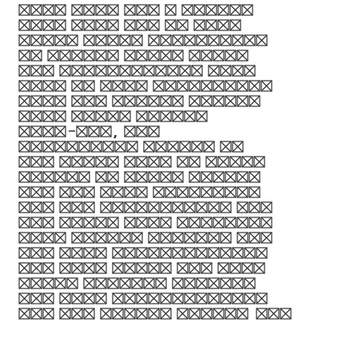[redacted text block — content obscured by redaction boxes]